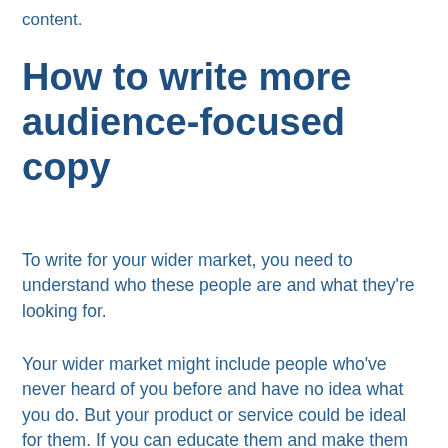content.
How to write more audience-focused copy
To write for your wider market, you need to understand who these people are and what they're looking for.
Your wider market might include people who've never heard of you before and have no idea what you do. But your product or service could be ideal for them. If you can educate them and make them more aware,